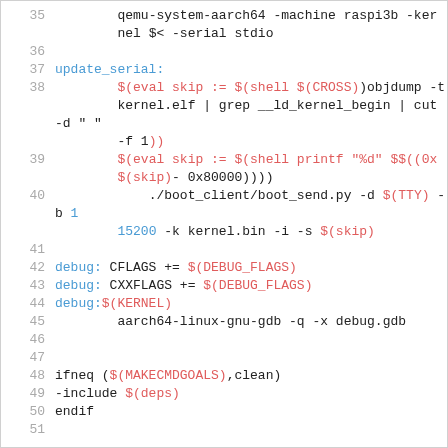[Figure (screenshot): Source code listing (Makefile) showing lines 35-51 with syntax highlighting. Line numbers in grey on left, keywords in blue, make variables/macros in red/cyan, plain text in dark. Content includes qemu invocation, update_serial target, debug target, ifneq block.]